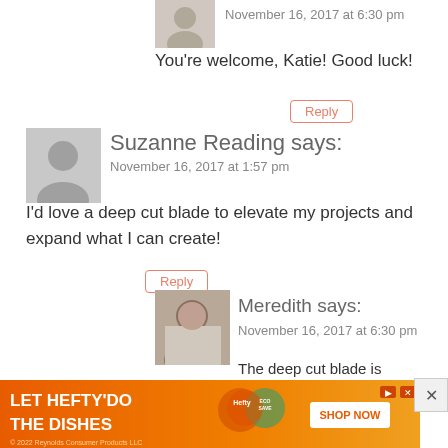November 16, 2017 at 6:30 pm
You're welcome, Katie! Good luck!
Reply
Suzanne Reading says:
November 16, 2017 at 1:57 pm
I'd love a deep cut blade to elevate my projects and expand what I can create!
Reply
Meredith says:
November 16, 2017 at 6:30 pm
The deep cut blade is awesome!
Reply
Cindy K says:
November 16, 2017 at 2:13 pm
[Figure (infographic): Advertisement banner: LET HEFTY DO THE DISHES with product images and SHOP NOW button. © 2022 Reynolds Consumer Products LLC]